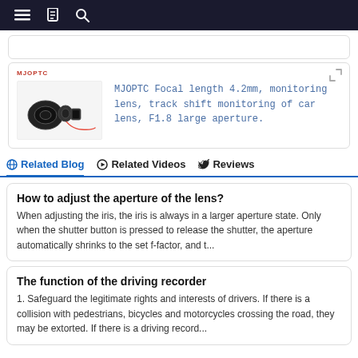Navigation bar with menu, bookmark, and search icons
[Figure (screenshot): Empty product card placeholder]
[Figure (photo): MJOPTC product card showing camera lens image with brand logo and product title: MJOPTC Focal length 4.2mm, monitoring lens, track shift monitoring of car lens, F1.8 large aperture.]
Related Blog   Related Videos   Reviews
How to adjust the aperture of the lens?
When adjusting the iris, the iris is always in a larger aperture state. Only when the shutter button is pressed to release the shutter, the aperture automatically shrinks to the set f-factor, and t...
The function of the driving recorder
1. Safeguard the legitimate rights and interests of drivers. If there is a collision with pedestrians, bicycles and motorcycles crossing the road, they may be extorted. If there is a driving record...